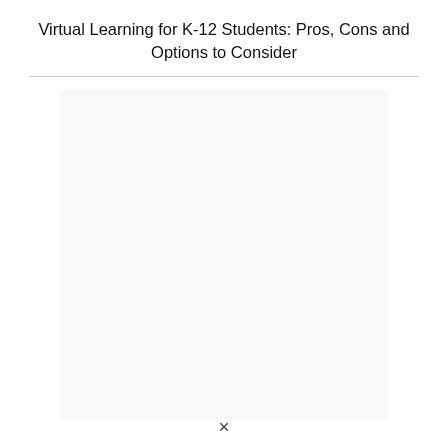Virtual Learning for K-12 Students: Pros, Cons and Options to Consider